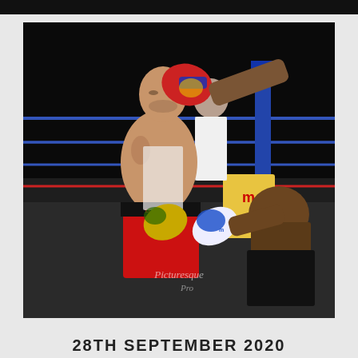[Figure (photo): A boxing match photograph showing two boxers fighting in the ring. The boxer on the left wears red shorts and gold/green gloves, while the boxer on the right is bald and wears white-and-blue gloves. A referee stands in the background. The ring has blue ropes and corner posts. A watermark reading 'Picturesque Pro' is visible in the lower portion of the image.]
28TH SEPTEMBER 2020